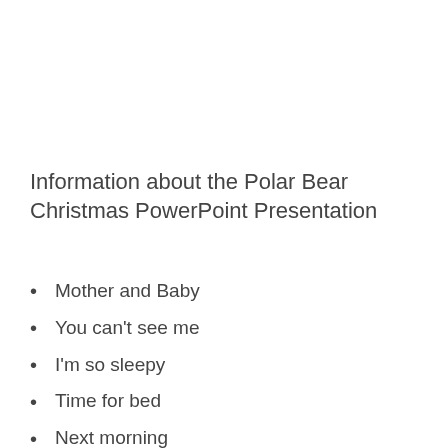Information about the Polar Bear Christmas PowerPoint Presentation
Mother and Baby
You can't see me
I'm so sleepy
Time for bed
Next morning
Same to you
Merry Christmas from Will and Guy